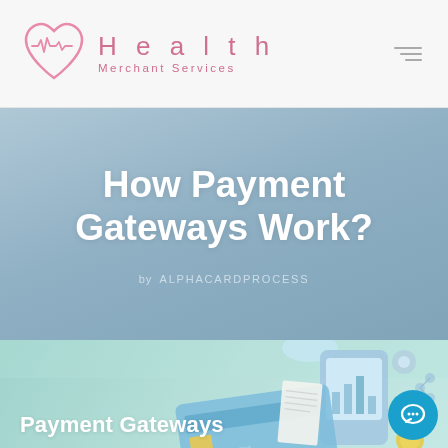Health Merchant Services
How Payment Gateways Work?
by ALPHACARDPROCESS
[Figure (illustration): Illustration of payment gateways showing a smartphone, credit card, receipt, and digital payment icons on a teal/mint gradient background with text 'Payment Gateways']